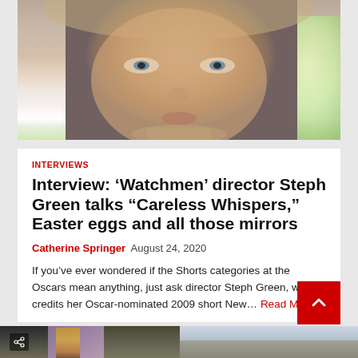[Figure (photo): Close-up portrait of a young woman with blonde hair and blue-green eyes, soft bokeh green background to the right.]
INTERVIEWS
Interview: ‘Watchmen’ director Steph Green talks “Careless Whispers,” Easter eggs and all those mirrors
Catherine Springer  August 24, 2020
If you’ve ever wondered if the Shorts categories at the Oscars mean anything, just ask director Steph Green, who credits her Oscar-nominated 2009 short New… Read More
[Figure (photo): Bottom strip showing two partial photos: left shows costumed figures in a dark setting, right shows a street scene with buildings.]